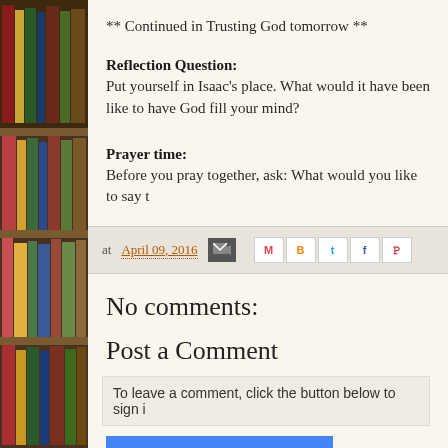[Figure (photo): Bookshelf with colorful books on wooden shelves, serving as decorative left sidebar]
** Continued in Trusting God tomorrow **
Reflection Question:
Put yourself in Isaac's place. What would it have been like to have God fill your mind?
Prayer time:
Before you pray together, ask: What would you like to say t
at April 09, 2016
No comments:
Post a Comment
To leave a comment, click the button below to sign i
SIGN IN WITH GOOGLE